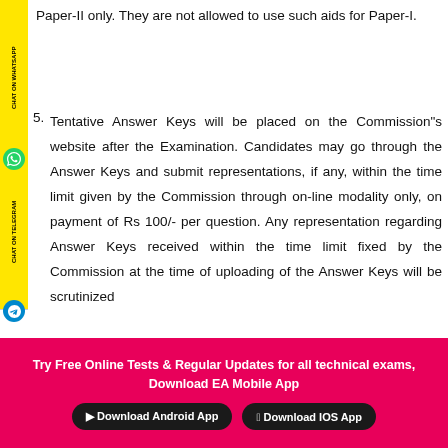Paper-II only. They are not allowed to use such aids for Paper-I.
5. Tentative Answer Keys will be placed on the Commission"s website after the Examination. Candidates may go through the Answer Keys and submit representations, if any, within the time limit given by the Commission through on-line modality only, on payment of Rs 100/- per question. Any representation regarding Answer Keys received within the time limit fixed by the Commission at the time of uploading of the Answer Keys will be scrutinized
Try Free Online Tests & Regular Updates for all technical exams, Download EA Mobile App
Download Android App   Download IOS App